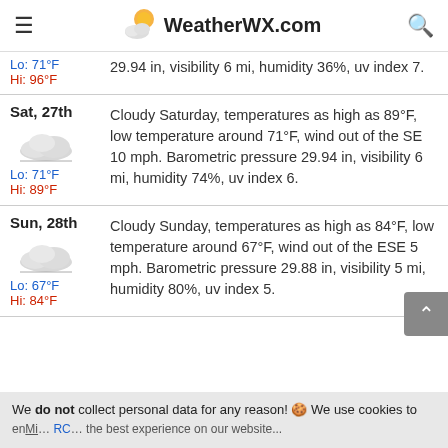WeatherWX.com
29.94 in, visibility 6 mi, humidity 36%, uv index 7. Lo: 71°F Hi: 96°F
Sat, 27th
Cloudy Saturday, temperatures as high as 89°F, low temperature around 71°F, wind out of the SE 10 mph. Barometric pressure 29.94 in, visibility 6 mi, humidity 74%, uv index 6.
Lo: 71°F Hi: 89°F
Sun, 28th
Cloudy Sunday, temperatures as high as 84°F, low temperature around 67°F, wind out of the ESE 5 mph. Barometric pressure 29.88 in, visibility 5 mi, humidity 80%, uv index 5.
Lo: 67°F Hi: 84°F
We do not collect personal data for any reason! 🍪 We use cookies to ...